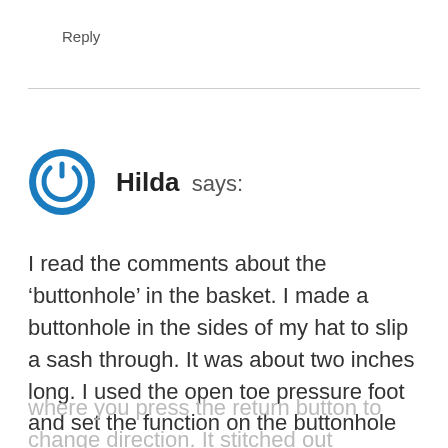Reply
Hilda says:
I read the comments about the ‘buttonhole’ in the basket. I made a buttonhole in the sides of my hat to slip a sash through. It was about two inches long. I used the open toe pressure foot and set the function on the buttonhole where you press the return button to change direction. It stitched out perfectly.